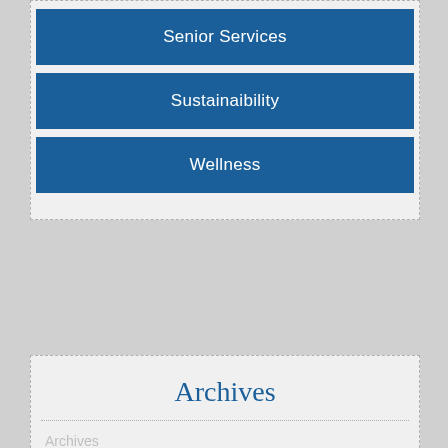Senior Services
Sustainaibility
Wellness
Archives
Archives
Select Month
Tags